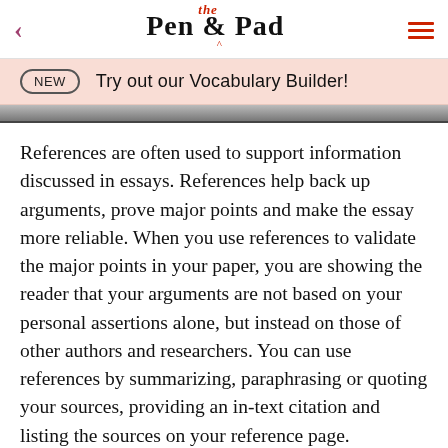Pen & the Pad
NEW   Try out our Vocabulary Builder!
References are often used to support information discussed in essays. References help back up arguments, prove major points and make the essay more reliable. When you use references to validate the major points in your paper, you are showing the reader that your arguments are not based on your personal assertions alone, but instead on those of other authors and researchers. You can use references by summarizing, paraphrasing or quoting your sources, providing an in-text citation and listing the sources on your reference page.
Style Guidelines